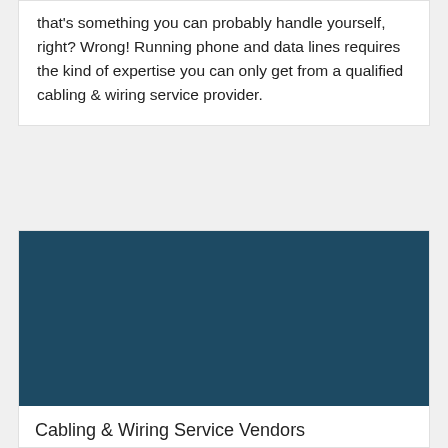that's something you can probably handle yourself, right? Wrong! Running phone and data lines requires the kind of expertise you can only get from a qualified cabling & wiring service provider.
[Figure (photo): Dark teal/navy colored rectangular image area, likely a photo placeholder for a cabling and wiring service image]
Cabling & Wiring Service Vendors